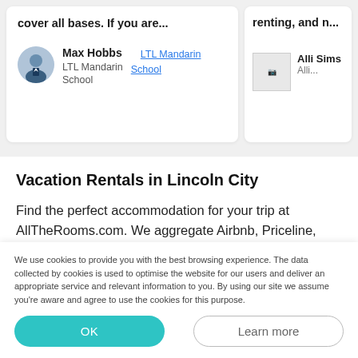cover all bases. If you are...
renting, and m...
Max Hobbs
LTL Mandarin School
LTL Mandarin School
Alli Sims
Alli...
Vacation Rentals in Lincoln City
Find the perfect accommodation for your trip at AllTheRooms.com. We aggregate Airbnb, Priceline, RedAwning and others. AllTheRooms has 4,681 rentals, hotels and other great places to stay during your time in Lincoln City, with everything from cheap hostels and
We use cookies to provide you with the best browsing experience. The data collected by cookies is used to optimise the website for our users and deliver an appropriate service and relevant information to you. By using our site we assume you're aware and agree to use the cookies for this purpose.
OK
Learn more